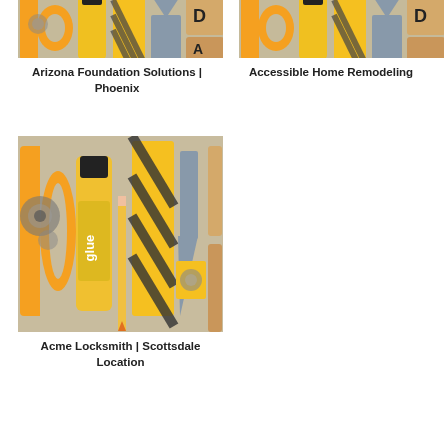[Figure (photo): DIY themed 3D letters with tools and craft supplies, partially cropped showing bottom portion - Arizona Foundation Solutions Phoenix]
Arizona Foundation Solutions | Phoenix
[Figure (photo): DIY themed 3D letters with tools and craft supplies, partially cropped showing bottom portion - Accessible Home Remodeling]
Accessible Home Remodeling
[Figure (photo): DIY themed 3D letters spelling DIY with glue bottle, pencil, tools, and wooden blocks with letters]
Acme Locksmith | Scottsdale Location